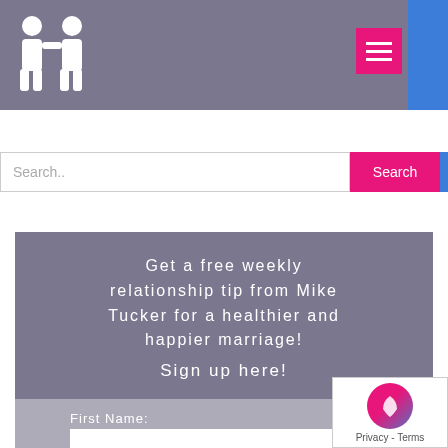Navigation header with logo and menu button
Search..
Get a free weekly relationship tip from Mike Tucker for a healthier and happier marriage! Sign up here!
First Name:
Last Name:
Email:
[Figure (logo): Privacy badge with logo in bottom right corner]
Privacy - Terms